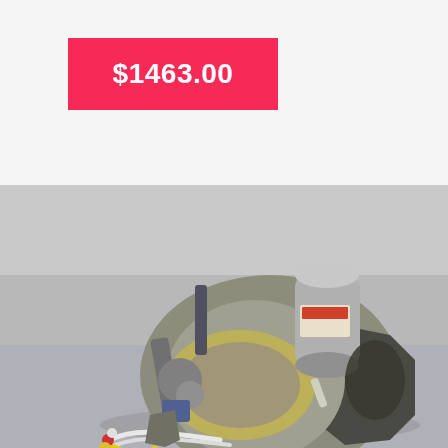$1463.00
[Figure (photo): Industrial mechanical assembly or sewing machine motor/actuator unit with metal body, wiring (white, yellow, red wires), a cylindrical motor on top, and various mechanical fittings, photographed on a gray surface.]